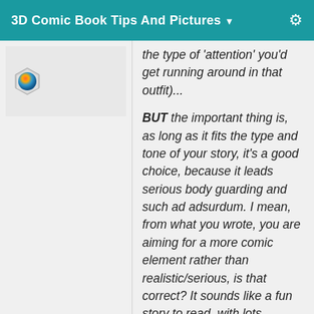3D Comic Book Tips And Pictures ▾
[Figure (illustration): Hexagonal avatar icon with colorful 3D sphere logo inside, displayed in a light gray box in the left panel.]
the type of 'attention' you'd get running around in that outfit)...
BUT the important thing is, as long as it fits the type and tone of your story, it's a good choice, because it leads serious body guarding and such ad adsurdum. I mean, from what you wrote, you are aiming for a more comic element rather than realistic/serious, is that correct? It sounds like a fun story to read, with lots